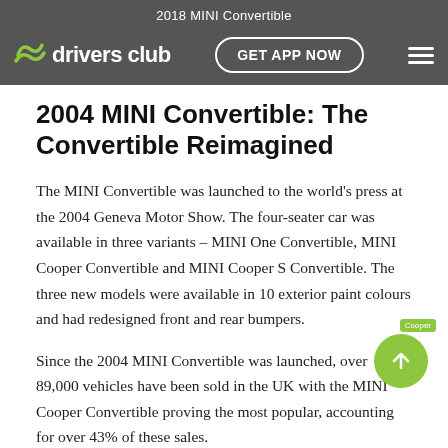2018 MINI Convertible
2004 MINI Convertible: The Convertible Reimagined
The MINI Convertible was launched to the world's press at the 2004 Geneva Motor Show. The four-seater car was available in three variants – MINI One Convertible, MINI Cooper Convertible and MINI Cooper S Convertible. The three new models were available in 10 exterior paint colours and had redesigned front and rear bumpers.
Since the 2004 MINI Convertible was launched, over 89,000 vehicles have been sold in the UK with the MINI Cooper Convertible proving the most popular, accounting for over 43% of these sales.
Pepper White has been the most favoured exterior paint…